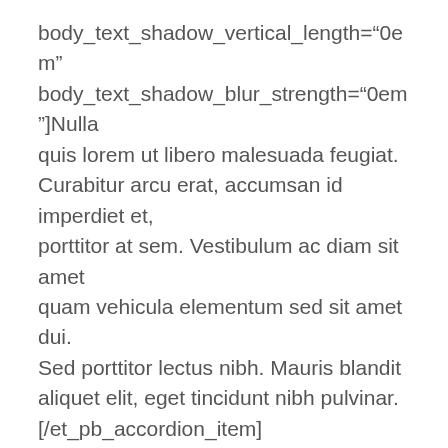body_text_shadow_vertical_length="0em" body_text_shadow_blur_strength="0em"]Nulla quis lorem ut libero malesuada feugiat. Curabitur arcu erat, accumsan id imperdiet et, porttitor at sem. Vestibulum ac diam sit amet quam vehicula elementum sed sit amet dui. Sed porttitor lectus nibh. Mauris blandit aliquet elit, eget tincidunt nibh pulvinar. [/et_pb_accordion_item][et_pb_accordion_item title="Lorem ipsum sample question?" open="off" _builder_version="3.0.106" title_text_shadow_horizontal_length="0em" title_text_shadow_vertical_length="0em" title_text_shadow_blur_strength="0em" body_text_shadow_horizontal_length="0em"